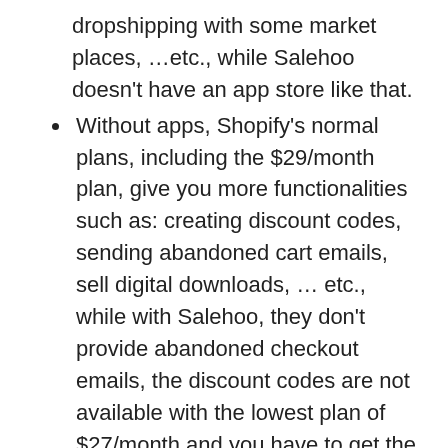dropshipping with some market places, …etc., while Salehoo doesn't have an app store like that.
Without apps, Shopify's normal plans, including the $29/month plan, give you more functionalities such as: creating discount codes, sending abandoned cart emails, sell digital downloads, … etc., while with Salehoo, they don't provide abandoned checkout emails, the discount codes are not available with the lowest plan of $27/month and you have to get the $49/month plan to create them, and you can't sell digital downloads unless you have the highest plan of $99/month